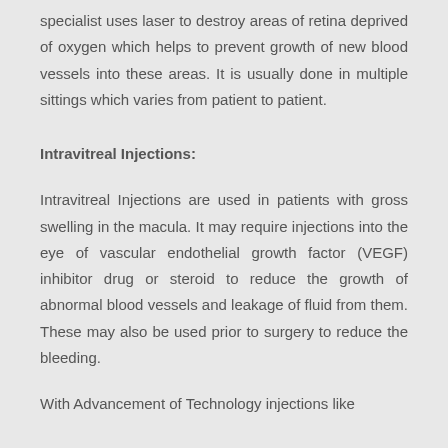specialist uses laser to destroy areas of retina deprived of oxygen which helps to prevent growth of new blood vessels into these areas. It is usually done in multiple sittings which varies from patient to patient.
Intravitreal Injections:
Intravitreal Injections are used in patients with gross swelling in the macula. It may require injections into the eye of vascular endothelial growth factor (VEGF) inhibitor drug or steroid to reduce the growth of abnormal blood vessels and leakage of fluid from them. These may also be used prior to surgery to reduce the bleeding.
With Advancement of Technology injections like